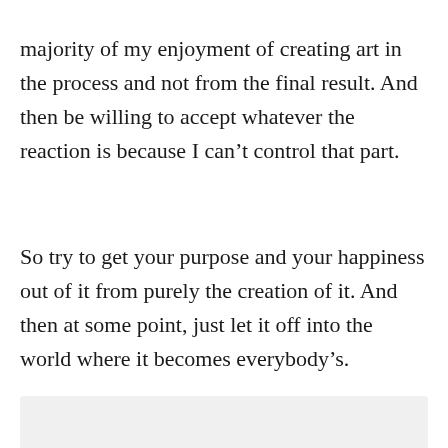majority of my enjoyment of creating art in the process and not from the final result. And then be willing to accept whatever the reaction is because I can't control that part.
So try to get your purpose and your happiness out of it from purely the creation of it. And then at some point, just let it off into the world where it becomes everybody's.